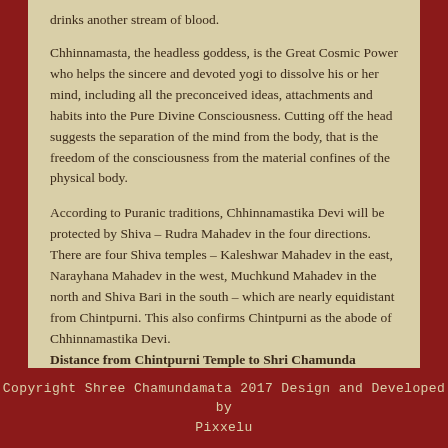drinks another stream of blood.
Chhinnamasta, the headless goddess, is the Great Cosmic Power who helps the sincere and devoted yogi to dissolve his or her mind, including all the preconceived ideas, attachments and habits into the Pure Divine Consciousness. Cutting off the head suggests the separation of the mind from the body, that is the freedom of the consciousness from the material confines of the physical body.
According to Puranic traditions, Chhinnamastika Devi will be protected by Shiva – Rudra Mahadev in the four directions. There are four Shiva temples – Kaleshwar Mahadev in the east, Narayhana Mahadev in the west, Muchkund Mahadev in the north and Shiva Bari in the south – which are nearly equidistant from Chintpurni. This also confirms Chintpurni as the abode of Chhinnamastika Devi. Distance from Chintpurni Temple to Shri Chamunda Nandikeshwar Temple is 83kms.
Copyright Shree Chamundamata 2017 Design and Developed by Pixxelu